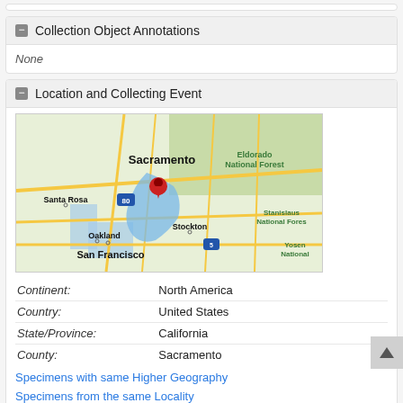Collection Object Annotations
None
Location and Collecting Event
[Figure (map): Google Maps view centered on Sacramento, California showing surrounding region including Santa Rosa, Oakland, San Francisco, Stockton, Eldorado National Forest, Stanislaus National Forest, Yosemite National, with a red location pin at Sacramento and a blue highlighted region.]
| Continent: | North America |
| Country: | United States |
| State/Province: | California |
| County: | Sacramento |
Specimens with same Higher Geography
Specimens from the same Locality